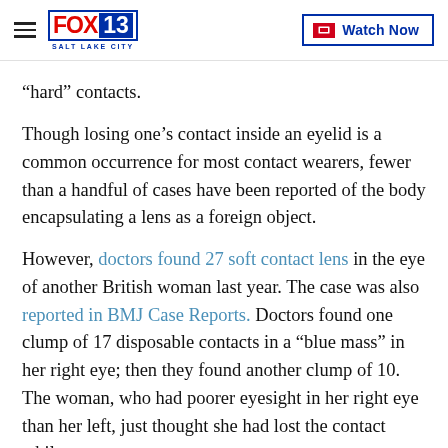FOX 13 SALT LAKE CITY | Watch Now
“hard” contacts.
Though losing one’s contact inside an eyelid is a common occurrence for most contact wearers, fewer than a handful of cases have been reported of the body encapsulating a lens as a foreign object.
However, doctors found 27 soft contact lens in the eye of another British woman last year. The case was also reported in BMJ Case Reports. Doctors found one clump of 17 disposable contacts in a “blue mass” in her right eye; then they found another clump of 10. The woman, who had poorer eyesight in her right eye than her left, just thought she had lost the contact while